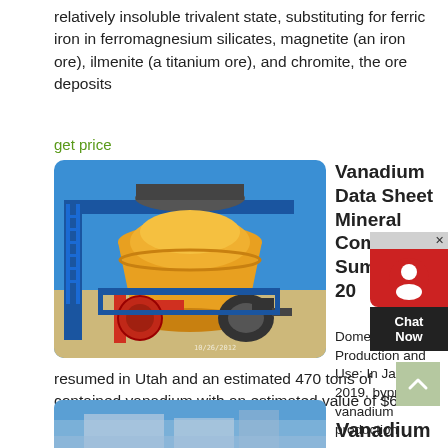relatively insoluble trivalent state, substituting for ferric iron in ferromagnesium silicates, magnetite (an iron ore), ilmenite (a titanium ore), and chromite, the ore deposits
get price
[Figure (photo): Industrial yellow cone crusher machine with blue frame and red piping against a blue sky background, with a date stamp 10/26/2012]
Vanadium Data Sheet Mineral Commodity Summaries 20
Domestic Production and Use: In January 2019, byproduct vanadium production
resumed in Utah and an estimated 470 tons of contained vanadium with an estimated value of $6.8 million was produced. In 2009–13, small quantities of vanadium were similarly produced as a byproduct from the mining of uraniferous sandstones on the Colorado Plateau.
get price
[Figure (photo): Partial view of a building with blue sky background, bottom strip only visible]
Vanadium